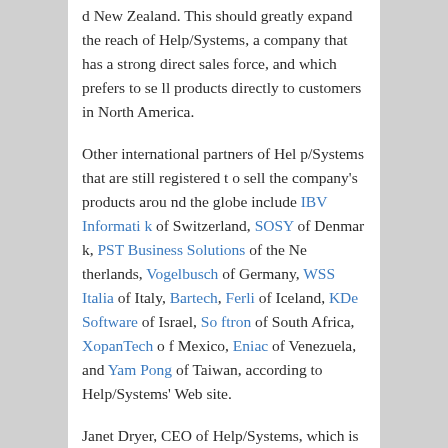d New Zealand. This should greatly expand the reach of Help/Systems, a company that has a strong direct sales force, and which prefers to sell products directly to customers in North America.
Other international partners of Help/Systems that are still registered to sell the company's products around the globe include IBV Informatik of Switzerland, SOSY of Denmark, PST Business Solutions of the Netherlands, Vogelbusch of Germany, WSS Italia of Italy, Bartech, Ferli of Iceland, KDe Software of Israel, Softron of South Africa, XopanTech of Mexico, Eniac of Venezuela, and Yam Pong of Taiwan, according to Help/Systems' Web site.
Janet Dryer, CEO of Help/Systems, which is based in Eden Prairie, Minnesota, says she is excited about th